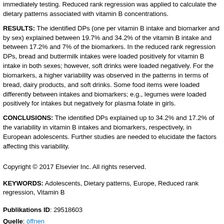immediately testing. Reduced rank regression was applied to calculate the dietary patterns associated with vitamin B concentrations.
RESULTS: The identified DPs (one per vitamin B intake and biomarker and by sex) explained between 19.7% and 34.2% of the vitamin B intake and between 17.2% and 7% of the biomarkers. In the reduced rank regression DPs, bread and buttermilk intakes were loaded positively for vitamin B intake in both sexes; however, soft drinks were loaded negatively. For the biomarkers, a higher variability was observed in the patterns in terms of bread, dairy products, and soft drinks. Some food items were loaded differently between intakes and biomarkers; e.g., legumes were loaded positively for intakes but negatively for plasma folate in girls.
CONCLUSIONS: The identified DPs explained up to 34.2% and 17.2% of the variability in vitamin B intakes and biomarkers, respectively, in European adolescents. Further studies are needed to elucidate the factors affecting this variability.
Copyright © 2017 Elsevier Inc. All rights reserved.
KEYWORDS: Adolescents, Dietary patterns, Europe, Reduced rank regression, Vitamin B
Publikations ID: 29518603
Quelle: öffnen